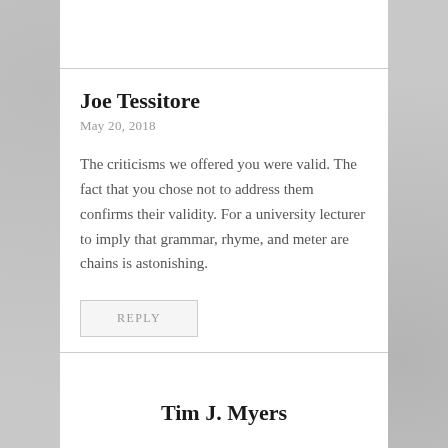Joe Tessitore
May 20, 2018
The criticisms we offered you were valid. The fact that you chose not to address them confirms their validity. For a university lecturer to imply that grammar, rhyme, and meter are chains is astonishing.
REPLY
Tim J. Myers